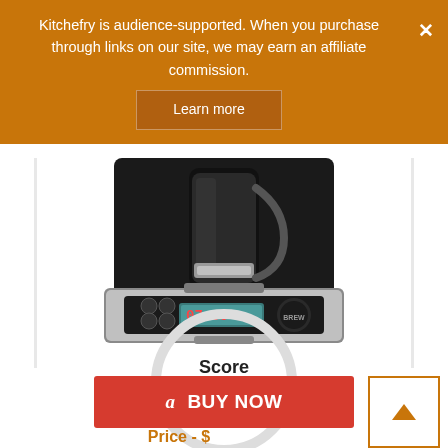Kitchefry is audience-supported. When you purchase through links on our site, we may earn an affiliate commission.
Learn more
[Figure (photo): Close-up photo of a black and silver drip coffee maker showing control panel with LCD display showing 07:06, brew button, and several control buttons]
Score
0
a BUY NOW
Price - $